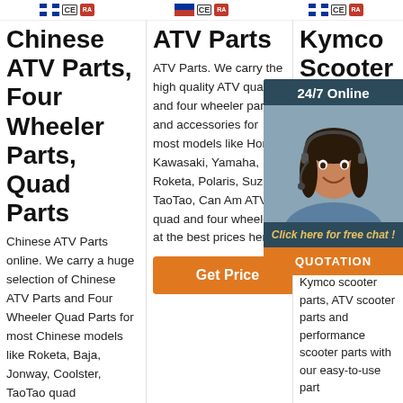[Logo badges: flags, CE marks] x3 groups
Chinese ATV Parts, Four Wheeler Parts, Quad Parts
Chinese ATV Parts online. We carry a huge selection of Chinese ATV Parts and Four Wheeler Quad Parts for most Chinese models like Roketa, Baja, Jonway, Coolster, TaoTao quad
ATV Parts
ATV Parts. We carry the high quality ATV quad and four wheeler parts and accessories for most models like Honda, Kawasaki, Yamaha, Roketa, Polaris, Suzuki, TaoTao, Can Am ATV quad and four wheeler at the best prices here.
Get Price
Kymco Scooter Pa... AT... Sc... Pa... Pe...
...
Kymco offers Kymco scooter parts, ATV scooter parts and performance scooter parts with our easy-to-use part
[Figure (photo): Customer service representative with headset, smiling. Overlay chat widget with '24/7 Online' header, 'Click here for free chat!' text, and orange QUOTATION button.]